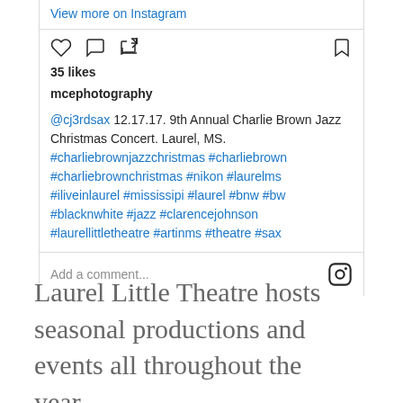View more on Instagram
35 likes
mcephotography
@cj3rdsax 12.17.17. 9th Annual Charlie Brown Jazz Christmas Concert. Laurel, MS. #charliebrownjazzchristmas #charliebrown #charliebrownchristmas #nikon #laurelms #iliveinlaurel #mississipi #laurel #bnw #bw #blacknwhite #jazz #clarencejohnson #laurellittletheatre #artinms #theatre #sax
Add a comment...
Laurel Little Theatre hosts seasonal productions and events all throughout the year.